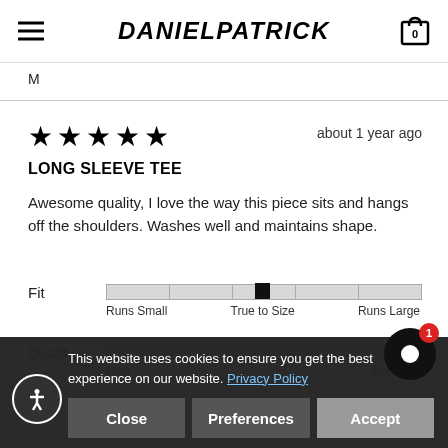DANIELPATRICK
M
[Figure (other): Five filled black stars rating]
about 1 year ago
LONG SLEEVE TEE
Awesome quality, I love the way this piece sits and hangs off the shoulders. Washes well and maintains shape.
Fit — slider at True to Size position. Labels: Runs Small, True to Size, Runs Large
Quality — slider at Excellent position. Labels: Poor, Excellent
This website uses cookies to ensure you get the best experience on our website. Privacy Policy
Close | Preferences | Accept
Joseph W.